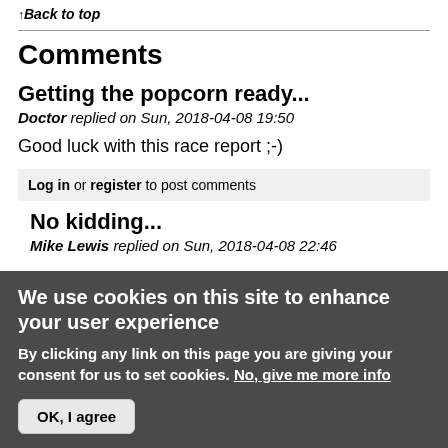↑Back to top
Comments
Getting the popcorn ready...
Doctor replied on Sun, 2018-04-08 19:50
Good luck with this race report ;-)
Log in or register to post comments
No kidding...
Mike Lewis replied on Sun, 2018-04-08 22:46
We use cookies on this site to enhance your user experience
By clicking any link on this page you are giving your consent for us to set cookies. No, give me more info
OK, I agree